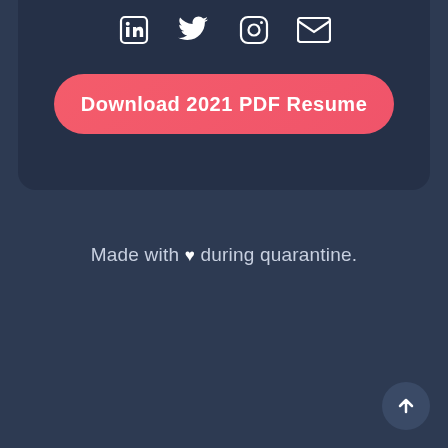[Figure (infographic): Social media icons: LinkedIn, Twitter, Instagram, Email in a dark card]
Download 2021 PDF Resume
Made with ♥ during quarantine.
Scroll Back Up
[Figure (infographic): Back to top arrow button in bottom right corner]